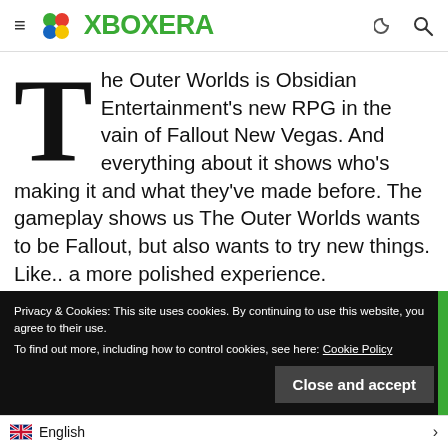XBOXERA
The Outer Worlds is Obsidian Entertainment's new RPG in the vain of Fallout New Vegas. And everything about it shows who's making it and what they've made before. The gameplay shows us The Outer Worlds wants to be Fallout, but also wants to try new things. Like.. a more polished experience.
Privacy & Cookies: This site uses cookies. By continuing to use this website, you agree to their use.
To find out more, including how to control cookies, see here: Cookie Policy
Close and accept
English